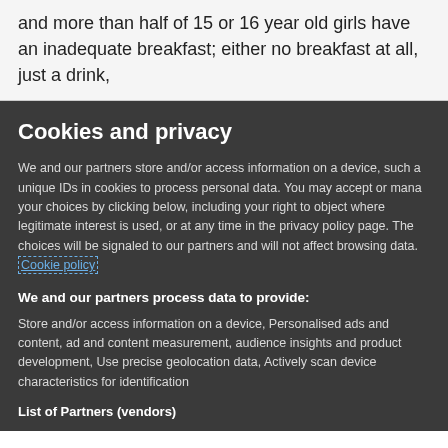and more than half of 15 or 16 year old girls have an inadequate breakfast; either no breakfast at all, just a drink,
Cookies and privacy
We and our partners store and/or access information on a device, such a unique IDs in cookies to process personal data. You may accept or mana your choices by clicking below, including your right to object where legitimate interest is used, or at any time in the privacy policy page. The choices will be signaled to our partners and will not affect browsing data. Cookie policy
We and our partners process data to provide:
Store and/or access information on a device, Personalised ads and content, ad and content measurement, audience insights and product development, Use precise geolocation data, Actively scan device characteristics for identification
List of Partners (vendors)
I Accept